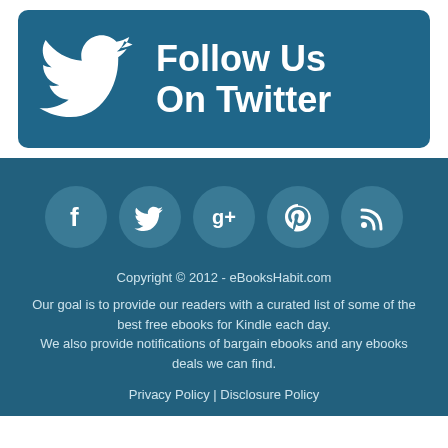[Figure (logo): Twitter 'Follow Us On Twitter' banner with Twitter bird logo on a dark teal/blue background]
[Figure (infographic): Row of five social media icon circles: Facebook, Twitter, Google+, Pinterest, RSS on dark teal background]
Copyright © 2012 - eBooksHabit.com
Our goal is to provide our readers with a curated list of some of the best free ebooks for Kindle each day. We also provide notifications of bargain ebooks and any ebooks deals we can find.
Privacy Policy | Disclosure Policy